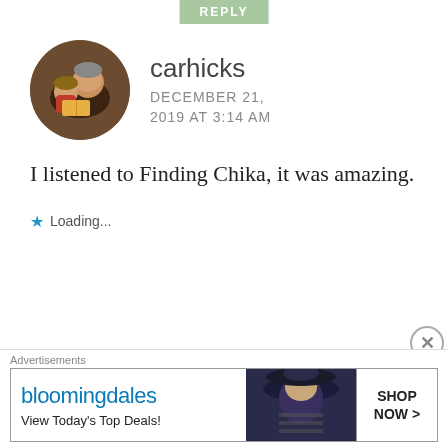REPLY
carhicks
DECEMBER 21, 2019 AT 3:14 AM
[Figure (photo): Circular avatar photo showing an adult and child reading together]
I listened to Finding Chika, it was amazing.
★ Loading...
December 2019 Reading Wrap Up |
Advertisements
[Figure (other): Bloomingdale's advertisement: View Today's Top Deals! SHOP NOW >]